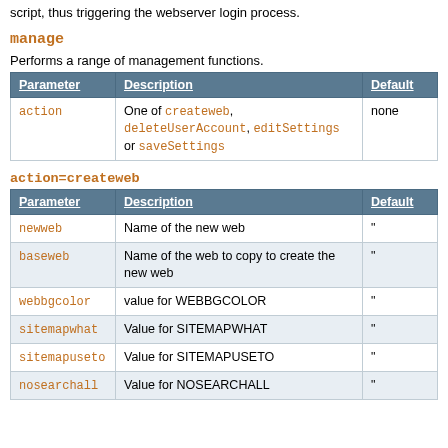script, thus triggering the webserver login process.
manage
Performs a range of management functions.
| Parameter | Description | Default |
| --- | --- | --- |
| action | One of createweb, deleteUserAccount, editSettings or saveSettings | none |
action=createweb
| Parameter | Description | Default |
| --- | --- | --- |
| newweb | Name of the new web | " |
| baseweb | Name of the web to copy to create the new web | " |
| webbgcolor | value for WEBBGCOLOR | " |
| sitemapwhat | Value for SITEMAPWHAT | " |
| sitemapuseto | Value for SITEMAPUSETO | " |
| nosearchall | Value for NOSEARCHALL | " |